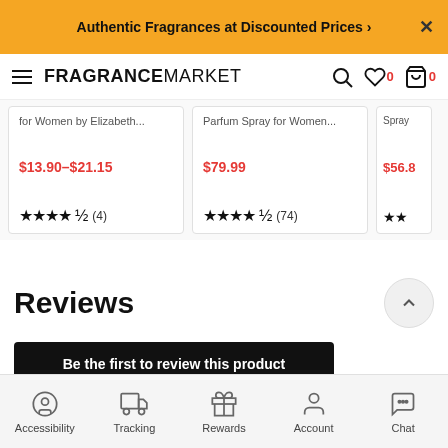Authentic Fragrances at Discounted Prices >
FRAGRANCEMARKET
for Women by Elizabeth...
$13.90–$21.15
★★★★★ (4)
Parfum Spray for Women...
$79.99
★★★★★ (74)
Spray
$56.8
Reviews
Be the first to review this product
Accessibility  Tracking  Rewards  Account  Chat